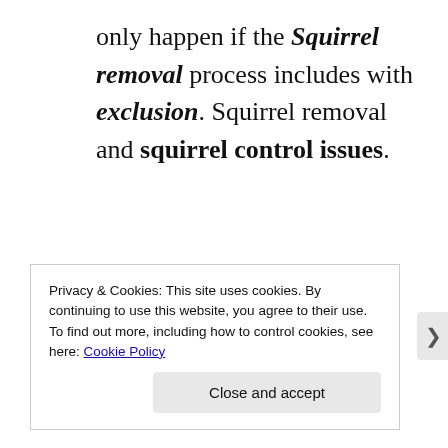only happen if the Squirrel removal process includes with exclusion. Squirrel removal and squirrel control issues.
Privacy & Cookies: This site uses cookies. By continuing to use this website, you agree to their use.
To find out more, including how to control cookies, see here: Cookie Policy

Close and accept